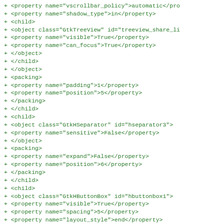+ <property name="vscrollbar_policy">automatic</property>
+ <property name="shadow_type">in</property>
+ <child>
+ <object class="GtkTreeView" id="treeview_share_li
+ <property name="visible">True</property>
+ <property name="can_focus">True</property>
+ </object>
+ </child>
+ </object>
+ <packing>
+ <property name="padding">1</property>
+ <property name="position">5</property>
+ </packing>
+ </child>
+ <child>
+ <object class="GtkHSeparator" id="hseparator3">
+ <property name="sensitive">False</property>
+ </object>
+ <packing>
+ <property name="expand">False</property>
+ <property name="position">6</property>
+ </packing>
+ </child>
+ <child>
+ <object class="GtkHButtonBox" id="hbuttonbox1">
+ <property name="visible">True</property>
+ <property name="spacing">5</property>
+ <property name="layout_style">end</property>
+ <child>
+ <object class="GtkButton" id="button_cancel">